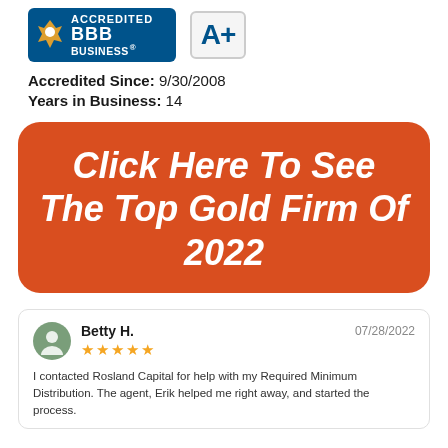[Figure (logo): BBB Accredited Business badge (blue background, BBB logo and 'ACCREDITED BUSINESS' text) and A+ rating box]
Accredited Since: 9/30/2008
Years in Business: 14
[Figure (infographic): Orange rounded rectangle button with italic white text: Click Here To See The Top Gold Firm Of 2022]
Betty H.
★★★★★
07/28/2022
I contacted Rosland Capital for help with my Required Minimum Distribution. The agent, Erik helped me right away, and started the process.